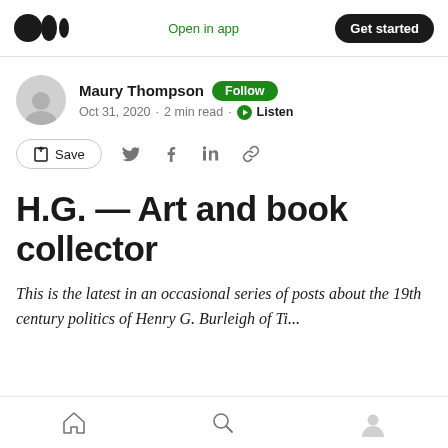Medium logo | Open in app | Get started
Maury Thompson · Follow · Oct 31, 2020 · 2 min read · Listen
Save (social share icons)
H.G. — Art and book collector
This is the latest in an occasional series of posts about the 19th century politics of Henry G. Burleigh of Ti...
Home | Search | Profile